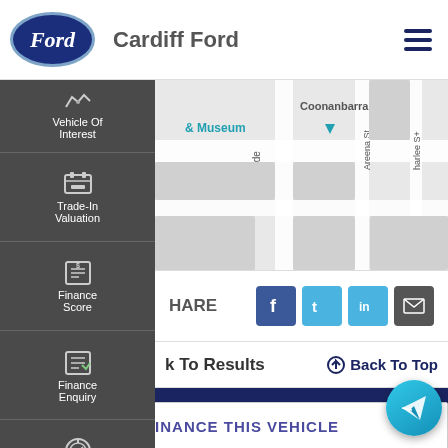Cardiff Ford
[Figure (screenshot): Map showing streets including Coonanbarra St, Adelaide St, Areena St with road network]
Vehicle Of Interest
Trade-In Valuation
Finance Score
Finance Enquiry
Book A Test Drive
SHARE
Back To Results
Back To Top
CONTACT US
FINANCE THIS VEHICLE